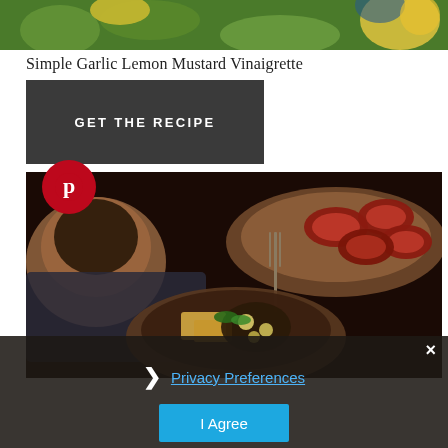[Figure (photo): Partial top crop of a food photo showing green herbs and yellow items on a colorful surface]
Simple Garlic Lemon Mustard Vinaigrette
GET THE RECIPE
[Figure (photo): Food photography showing sliced tomatoes on a wooden board, pasta salad dish, wooden bowl, and fork on a dark rustic background. Pinterest icon overlay in top-left corner.]
× Privacy Preferences I Agree